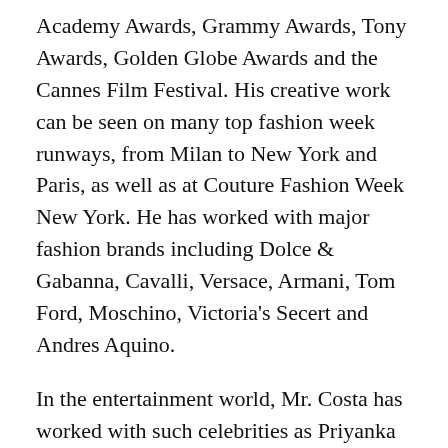Academy Awards, Grammy Awards, Tony Awards, Golden Globe Awards and the Cannes Film Festival. His creative work can be seen on many top fashion week runways, from Milan to New York and Paris, as well as at Couture Fashion Week New York. He has worked with major fashion brands including Dolce & Gabanna, Cavalli, Versace, Armani, Tom Ford, Moschino, Victoria's Secert and Andres Aquino.
In the entertainment world, Mr. Costa has worked with such celebrities as Priyanka Chopra, Stevie Wonder, Angela Basset, Terri McMillan, Oprah Winfrey, Alfred Woodard, Brandy,  Coco, Queen Latifah, Nicki Minaj, Rihanna, Beyoncé, Alicia Keyes and Mariah